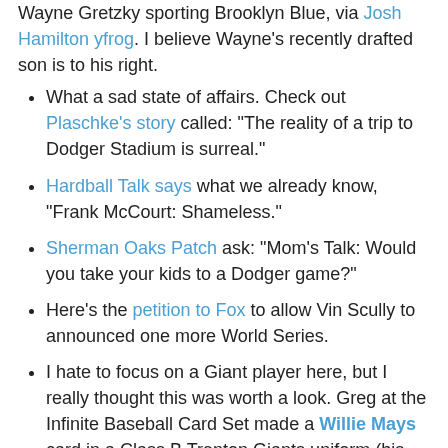Wayne Gretzky sporting Brooklyn Blue, via Josh Hamilton yfrog. I believe Wayne's recently drafted son is to his right.
What a sad state of affairs. Check out Plaschke's story called: "The reality of a trip to Dodger Stadium is surreal."
Hardball Talk says what we already know, "Frank McCourt: Shameless."
Sherman Oaks Patch ask: "Mom's Talk: Would you take your kids to a Dodger game?"
Here's the petition to Fox to allow Vin Scully to announced one more World Series.
I hate to focus on a Giant player here, but I really thought this was worth a look. Greg at the Infinite Baseball Card Set made a Willie Mays card in a Class B Trenton Giants uniform (his first team associated with a Major League club), and tells a story about his first night with the team. Go to the site here to see the card and read the story. Below is a short excerpt.